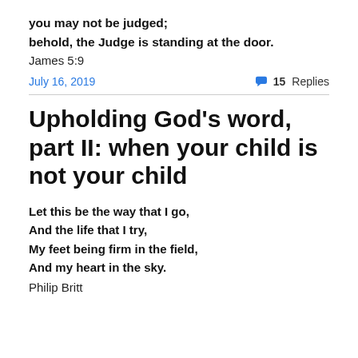you may not be judged;
behold, the Judge is standing at the door.
James 5:9
July 16, 2019
💬 15 Replies
Upholding God's word, part II: when your child is not your child
Let this be the way that I go,
And the life that I try,
My feet being firm in the field,
And my heart in the sky.
Philip Britt